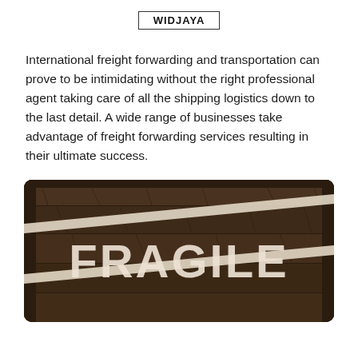WIDJAYA
International freight forwarding and transportation can prove to be intimidating without the right professional agent taking care of all the shipping logistics down to the last detail. A wide range of businesses take advantage of freight forwarding services resulting in their ultimate success.
[Figure (photo): A wooden crate with the word FRAGILE stenciled in large white letters with two diagonal white stripes across the top and bottom of the text, on dark brown wood planks.]